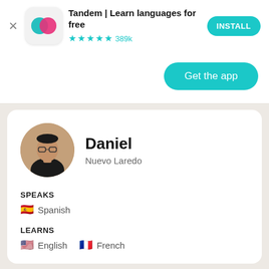[Figure (screenshot): Tandem app advertisement banner with app icon, title, star rating, and install button]
[Figure (screenshot): Get the app button in teal/cyan color]
Daniel
Nuevo Laredo
SPEAKS
Spanish
LEARNS
English   French